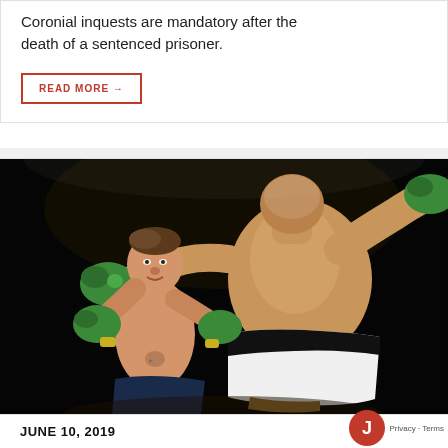Coronial inquests are mandatory after the death of a sentenced prisoner.
READ MORE →
[Figure (photo): Two boxers fighting in a boxing match. The boxer on the left, wearing green gloves and yellow hand wraps, is being punched by the boxer on the right who has his back to the camera. Black background.]
JUNE 10, 2019